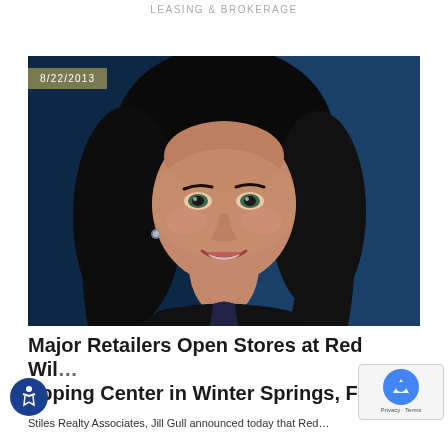LEASING & BROKERAGE
[Figure (photo): Professional headshot of a woman with long dark hair, smiling, against a dark blue background. Date badge reads 8/22/2013 in the top-left corner.]
Major Retailers Open Stores at Red Wil… opping Center in Winter Springs, Fla…
Stiles Realty Associates, Jill Gull announced today that Red…